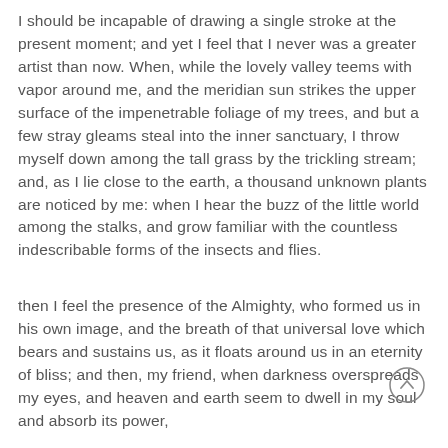I should be incapable of drawing a single stroke at the present moment; and yet I feel that I never was a greater artist than now. When, while the lovely valley teems with vapor around me, and the meridian sun strikes the upper surface of the impenetrable foliage of my trees, and but a few stray gleams steal into the inner sanctuary, I throw myself down among the tall grass by the trickling stream; and, as I lie close to the earth, a thousand unknown plants are noticed by me: when I hear the buzz of the little world among the stalks, and grow familiar with the countless indescribable forms of the insects and flies.
then I feel the presence of the Almighty, who formed us in his own image, and the breath of that universal love which bears and sustains us, as it floats around us in an eternity of bliss; and then, my friend, when darkness overspreads my eyes, and heaven and earth seem to dwell in my soul and absorb its power,